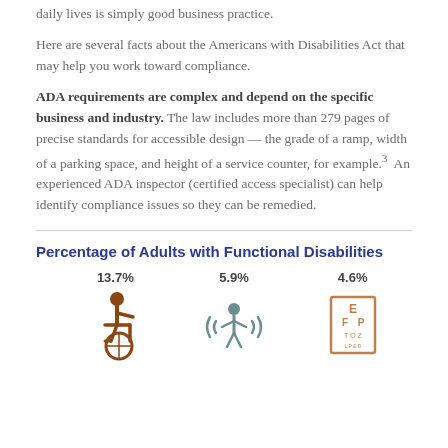daily lives is simply good business practice.
Here are several facts about the Americans with Disabilities Act that may help you work toward compliance.
ADA requirements are complex and depend on the specific business and industry. The law includes more than 279 pages of precise standards for accessible design — the grade of a ramp, width of a parking space, and height of a service counter, for example.3 An experienced ADA inspector (certified access specialist) can help identify compliance issues so they can be remedied.
Percentage of Adults with Functional Disabilities
[Figure (infographic): Three icons with percentages: 13.7% person in wheelchair (mobility), 5.9% hearing wave symbol, 4.6% eye chart (vision)]